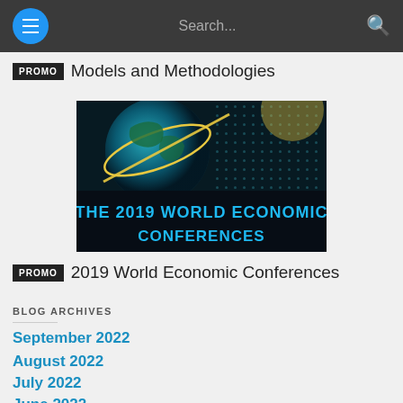Search...
PROMO  Models and Methodologies
[Figure (photo): Promotional image showing a globe with digital background and text 'THE 2019 WORLD ECONOMIC CONFERENCES']
PROMO  2019 World Economic Conferences
BLOG ARCHIVES
September 2022
August 2022
July 2022
June 2022